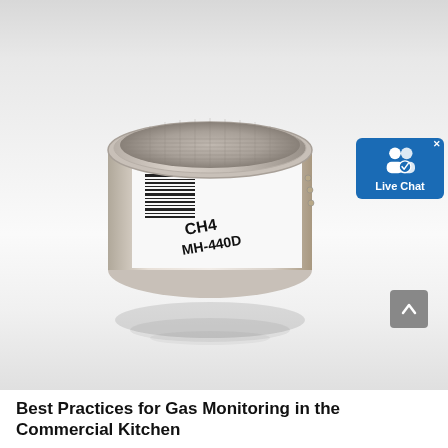[Figure (photo): A close-up photograph of a cylindrical gas sensor component labeled 'CH4 MH-440D' with a metal mesh top and a white label with barcode on a light grey/white reflective surface background. A blue 'Live Chat' button widget is overlaid in the top-right corner, along with a grey scroll-to-top arrow button at the bottom right.]
Best Practices for Gas Monitoring in the Commercial Kitchen